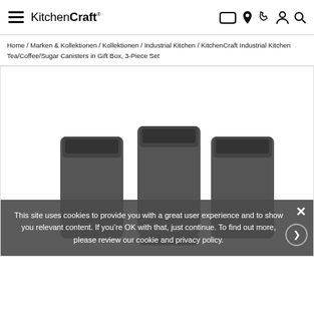KitchenCraft® — navigation header with hamburger menu and icons
Home / Marken & Kollektionen / Kollektionen / Industrial Kitchen / KitchenCraft Industrial Kitchen Tea/Coffee/Sugar Canisters in Gift Box, 3-Piece Set
[Figure (photo): Three dark grey/black industrial-style kitchen canisters (Tea, Coffee, Sugar) partially visible behind a cookie consent overlay]
This site uses cookies to provide you with a great user experience and to show you relevant content. If you're OK with that, just continue. To find out more, please review our cookie and privacy policy.